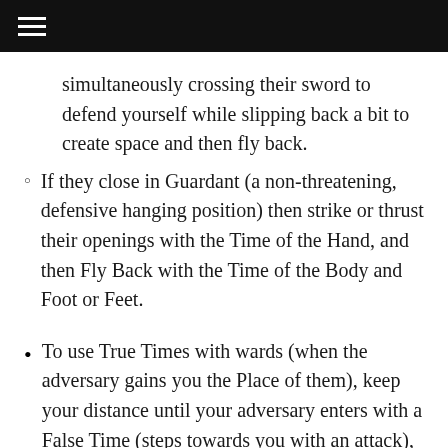≡ (navigation menu icon)
simultaneously crossing their sword to defend yourself while slipping back a bit to create space and then fly back.
If they close in Guardant (a non-threatening, defensive hanging position) then strike or thrust their openings with the Time of the Hand, and then Fly Back with the Time of the Body and Foot or Feet.
To use True Times with wards (when the adversary gains you the Place of them), keep your distance until your adversary enters with a False Time (steps towards you with an attack), thus gaining you the Place. As they do so, you